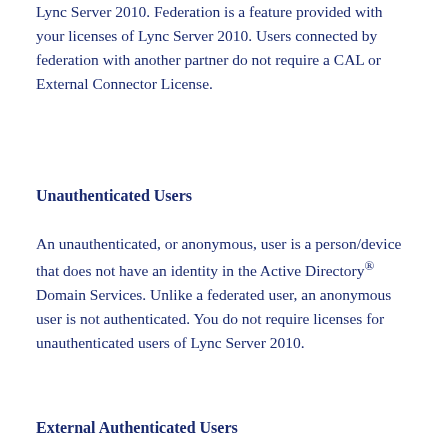Lync Server 2010. Federation is a feature provided with your licenses of Lync Server 2010. Users connected by federation with another partner do not require a CAL or External Connector License.
Unauthenticated Users
An unauthenticated, or anonymous, user is a person/device that does not have an identity in the Active Directory® Domain Services. Unlike a federated user, an anonymous user is not authenticated. You do not require licenses for unauthenticated users of Lync Server 2010.
External Authenticated Users